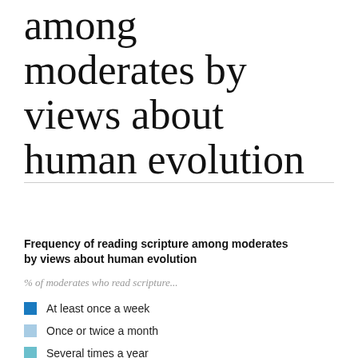among moderates by views about human evolution
Frequency of reading scripture among moderates by views about human evolution
% of moderates who read scripture...
At least once a week
Once or twice a month
Several times a year